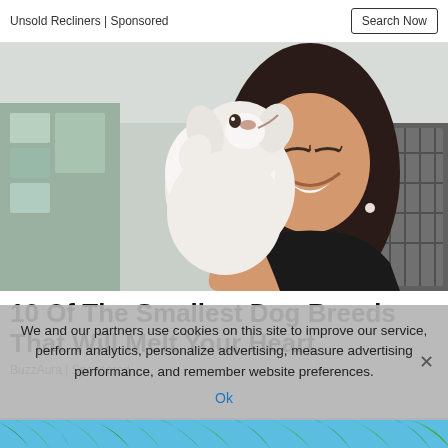Unsold Recliners | Sponsored  Search Now
[Figure (photo): A woman smiling and holding a small white fluffy puppy up to her face, in what appears to be an indoor shelter or store environment with crates visible in the background.]
10 Of The Smallest Dog Breeds That Will Melt Your Heart
BuzzAura | Sponsored
We and our partners use cookies on this site to improve our service, perform analytics, personalize advertising, measure advertising performance, and remember website preferences.
Ok
[Figure (photo): Bottom strip showing tropical palm trees against a blue sky background.]